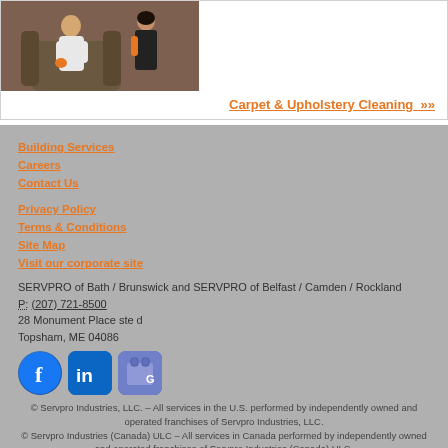[Figure (photo): Two people cleaning upholstery on a sofa chair; one in white uniform, one in black outfit with orange accents]
Carpet & Upholstery Cleaning »
Building Services
Careers
Contact Us
Privacy Policy
Terms & Conditions
Site Map
Visit our corporate site
SERVPRO of Bath / Brunswick and SERVPRO of Belfast / Camden / Rockland
P: (207) 721-8500
28 Monument Place ste d
Topsham, ME 04086
[Figure (logo): Facebook, LinkedIn, and Google business social media icons]
© Servpro Industries, LLC. – All services in the U.S. performed by independently owned and operated franchises of Servpro Industries, LLC.
© Servpro Industries (Canada) ULC – All services in Canada performed by independently owned and operated franchises of Servpro Industries (Canada) ULC.